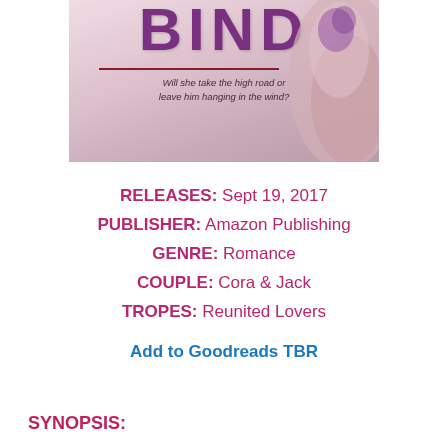[Figure (illustration): Partial book cover showing cropped purple title text 'BIND', italic tagline 'Will she take the high road or leave him hanging in the wind?', and an image of hands with a tattoo against a light pink/grey background.]
RELEASES: Sept 19, 2017
PUBLISHER: Amazon Publishing
GENRE: Romance
COUPLE: Cora & Jack
TROPES: Reunited Lovers
Add to Goodreads TBR
SYNOPSIS: